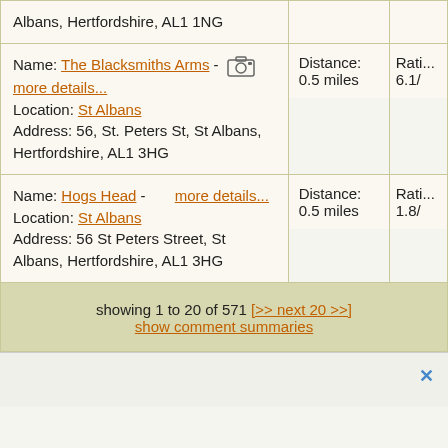| Name/Location/Address | Distance | Rating |
| --- | --- | --- |
| Albans, Hertfordshire, AL1 1NG |  |  |
| Name: The Blacksmiths Arms - [camera] more details... Location: St Albans Address: 56, St. Peters St, St Albans, Hertfordshire, AL1 3HG | Distance: 0.5 miles | Rati... 6.1/ |
| Name: Hogs Head - more details... Location: St Albans Address: 56 St Peters Street, St Albans, Hertfordshire, AL1 3HG | Distance: 0.5 miles | Rati... 1.8/ |
showing 1 to 20 of 571 [>> next 20 >>]
show comment summaries